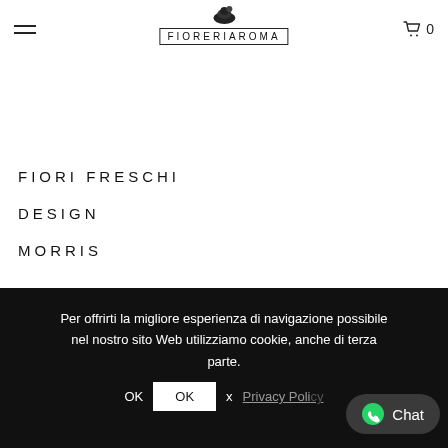[Figure (logo): FioreriaRoma logo with flower icon above bordered text FIORERIAROMA]
FIORI FRESCHI
DESIGN
MORRIS
SERVIZI
STORES (partially visible)
Per offrirti la migliore esperienza di navigazione possibile nel nostro sito Web utilizziamo cookie, anche di terza parte.
OK  x  Privacy Policy
[Figure (other): WhatsApp Chat button in dark rounded bubble, bottom right]